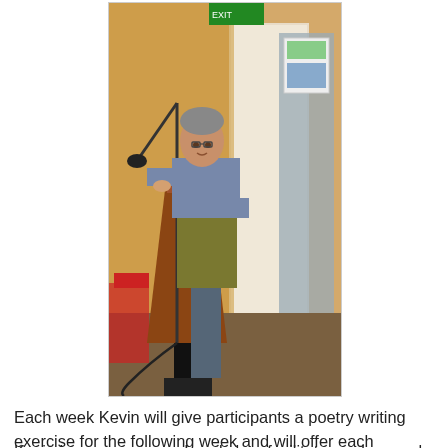[Figure (photo): A man in a two-tone sweater (grey/blue on top, olive/khaki in middle) standing at a wooden podium/lectern with a microphone, in what appears to be an indoor community or classroom setting with warm yellow walls, windows, and various posters on the wall behind him.]
Each week Kevin will give participants a poetry writing exercise for the following week and will offer each participant constructive suggestions as to how her or his poem can become the best possible poem it can be.
Kevin is an experienced workshop facilitator and several of